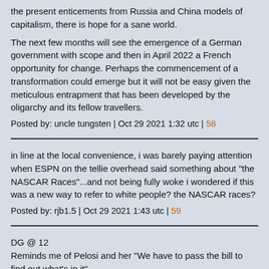the present enticements from Russia and China models of capitalism, there is hope for a sane world.
The next few months will see the emergence of a German government with scope and then in April 2022 a French opportunity for change. Perhaps the commencement of a transformation could emerge but it will not be easy given the meticulous entrapment that has been developed by the oligarchy and its fellow travellers.
Posted by: uncle tungsten | Oct 29 2021 1:32 utc | 58
in line at the local convenience, i was barely paying attention when ESPN on the tellie overhead said something about "the NASCAR Races"...and not being fully woke i wondered if this was a new way to refer to white people? the NASCAR races?
Posted by: rjb1.5 | Oct 29 2021 1:43 utc | 59
DG @ 12
Reminds me of Pelosi and her "We have to pass the bill to find out what's in it".
Yeah, the goosestepping march towards totalitarianism and medical apartheid is scary. And it's the traditional "liberals" who are saluting and supporting it.
There is a bigger agenda, though. Max Blumenthal is all